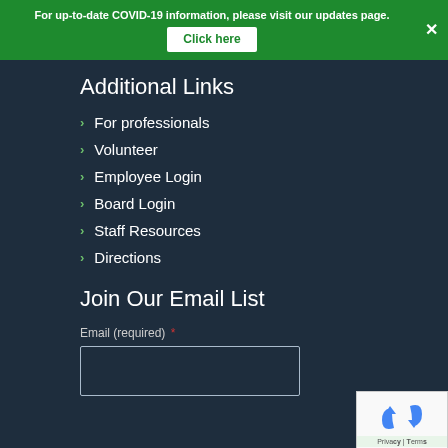For up-to-date COVID-19 information, please visit our updates page. Click here
Additional Links
For professionals
Volunteer
Employee Login
Board Login
Staff Resources
Directions
Join Our Email List
Email (required) *
[Figure (other): reCAPTCHA widget with recycling arrows logo and Privacy/Terms footer]